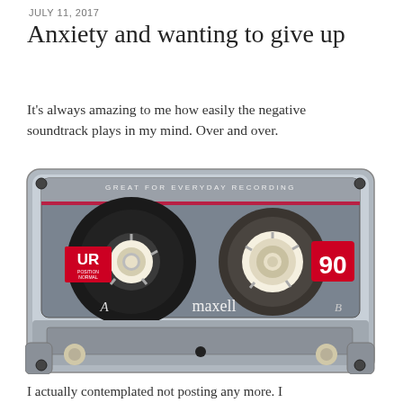JULY 11, 2017
Anxiety and wanting to give up
It's always amazing to me how easily the negative soundtrack plays in my mind. Over and over.
[Figure (photo): A Maxell UR 90 cassette tape — clear plastic shell with a black spool on the left labeled 'UR POSITION NORMAL', text reading 'GREAT FOR EVERYDAY RECORDING', the brand name 'maxell' in the center, side A marked on the left spool, side B on the right, and '90' in white text on a red label on the right.]
I actually contemplated not posting any more.  I